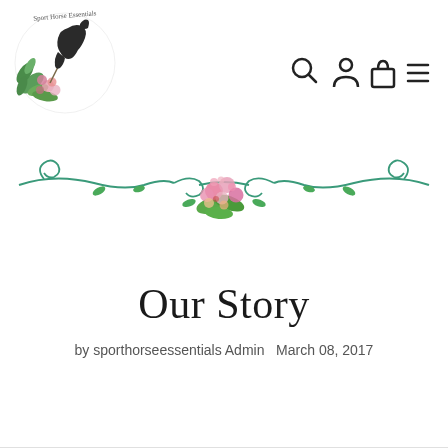[Figure (logo): Sport Horse Essentials circular logo with illustrated horse head, green foliage and pink flowers]
[Figure (infographic): Navigation icons: search (magnifying glass), account (person silhouette), cart (shopping bag), menu (hamburger three lines)]
[Figure (illustration): Decorative floral divider: teal/green curling vine with spiral ends and pink flower bouquet in center with green leaves]
Our Story
by sporthorseessentials Admin   March 08, 2017